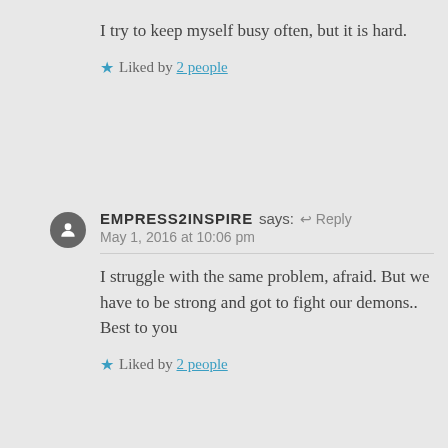I try to keep myself busy often, but it is hard.
★ Liked by 3 people
EMPRESS2INSPIRE says: ↩ Reply
May 1, 2016 at 10:06 pm
I struggle with the same problem, afraid. But we have to be strong and got to fight our demons.. Best to you
★ Liked by 2 people